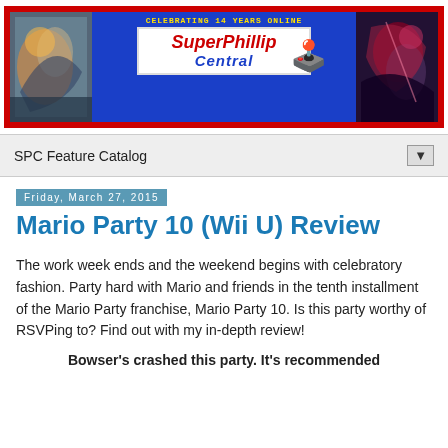[Figure (illustration): SuperPhillip Central website banner with red background, 'CELEBRATING 14 YEARS ONLINE' text, SuperPhillip Central logo in blue and red, a pixel-art Mario-like character, game artwork on left and right sides]
SPC Feature Catalog
Friday, March 27, 2015
Mario Party 10 (Wii U) Review
The work week ends and the weekend begins with celebratory fashion. Party hard with Mario and friends in the tenth installment of the Mario Party franchise, Mario Party 10. Is this party worthy of RSVPing to? Find out with my in-depth review!
Bowser's crashed this party. It's recommended